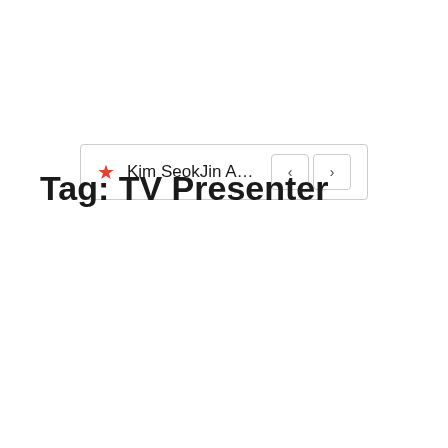[Figure (screenshot): Navigation bar with a red star icon, text 'Kim SeokJin Age, Heig...' and left/right arrow buttons]
Tag: TV Presenter